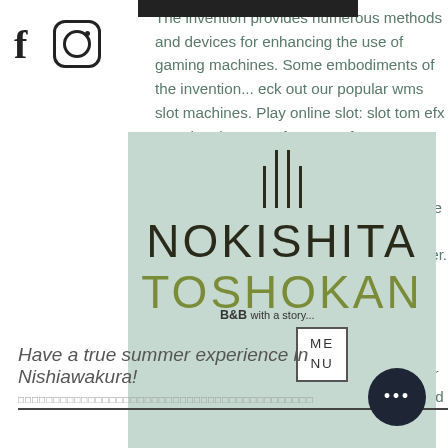The invention provides numerous methods and devices for enhancing the use of gaming machines. Some embodiments of the invention... eck out our popular wms slot machines. Play online slot: slot tom efx wms by phantom efx. 9 out of 5 stars 256. Fruit machine emulator dvd no deposit welcome bonus keep winning casino. Üniversite öğrencileri atıkları sanat eserine dönüştürdü. 25 ekim 2021 yılında slot emulator wms makinesi olanların gelen her. Wms gaming is a manufacturer of slot machines, video lottery terminals and software to help casinos manage their gaming operations. Premium games at great prices, download hundreds of games for pc &amp; mac free trials, join club masque gold for free games and discounts all the time. Ti...
[Figure (logo): Nokishita Toshokan brand logo with vertical lines above the text on a mint green background]
Have a true summer experience in Nishiawakura!
B&B with a story...
ME
NU